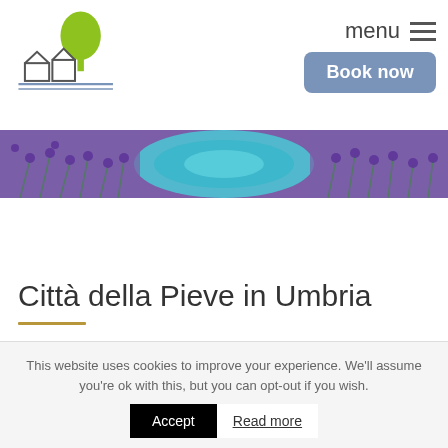[Figure (logo): House/farm logo with tree outline and buildings, with blue horizontal lines beneath]
menu ☰
Book now
[Figure (photo): Banner photo of lavender flowers with a blue pool/water visible]
Città della Pieve in Umbria
[Figure (infographic): Three green social share buttons: Facebook, Pinterest, Twitter]
This website uses cookies to improve your experience. We'll assume you're ok with this, but you can opt-out if you wish.
Accept  Read more